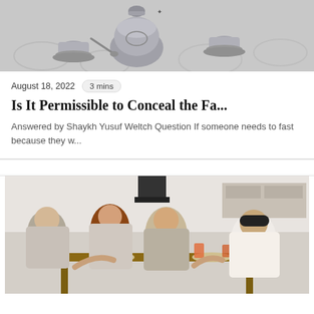[Figure (photo): Silver tea set with ornate cups and saucers on a floral tablecloth]
August 18, 2022  3 mins
Is It Permissible to Conceal the Fa...
Answered by Shaykh Yusuf Weltch Question If someone needs to fast because they w...
[Figure (photo): Muslim family sharing a meal together at a dining table, with women wearing hijabs and a man in a kufi cap]